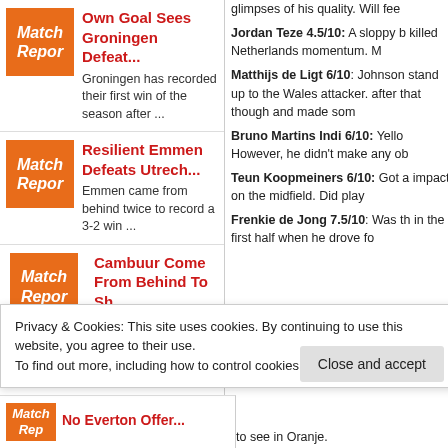Own Goal Sees Groningen Defeat... Groningen has recorded their first win of the season after ...
Resilient Emmen Defeats Utrech... Emmen came from behind twice to record a 3-2 win ...
Cambuur Come From Behind To Sh... Burak Yilmaz was on the scoresheet for Fortuna Sittard but
glimpses of his quality. Will fee
Jordan Teze 4.5/10: A sloppy b killed Netherlands momentum. M
Matthijs de Ligt 6/10: Johnson stand up to the Wales attacker. after that though and made som
Bruno Martins Indi 6/10: Yello However, he didn't make any ob
Teun Koopmeiners 6/10: Got a impact on the midfield. Did play
Frenkie de Jong 7.5/10: Was th in the first half when he drove fo
Privacy & Cookies: This site uses cookies. By continuing to use this website, you agree to their use. To find out more, including how to control cookies, see here: Cookie Policy
Close and accept
to see in Oranje.
No Everton Offer...